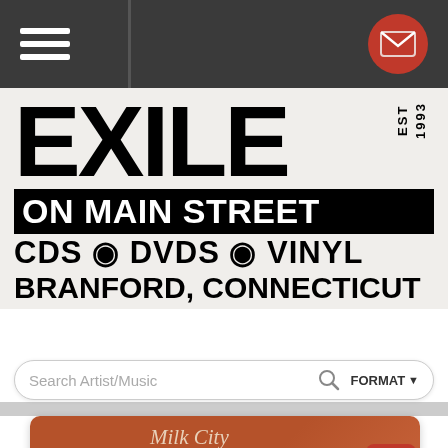Navigation bar with hamburger menu and mail button
EXILE ON MAIN STREET CDS • DVDS • VINYL BRANFORD, CONNECTICUT EST 1993
[Figure (screenshot): Search bar with 'Search Artist/Music' placeholder, magnifying glass icon, and FORMAT dropdown]
[Figure (photo): Album cover for 'Milk City Sweethearts' by Scott Lavene on an orange/rust background with script lettering]